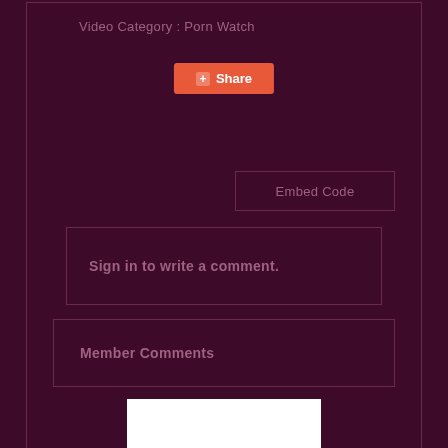Video Category : Porn Watch
Share
Embed Code
Sign in to write a comment.
Member Comments
[Figure (other): White rectangle image placeholder at the bottom of the page]